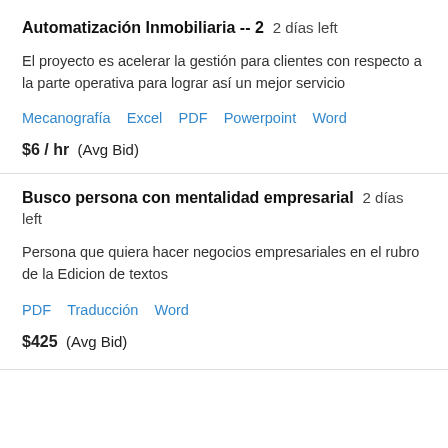Automatización Inmobiliaria -- 2  2 días left
El proyecto es acelerar la gestión para clientes con respecto a la parte operativa para lograr así un mejor servicio
Mecanografía   Excel   PDF   Powerpoint   Word
$6 / hr  (Avg Bid)
Busco persona con mentalidad empresarial  2 días left
Persona que quiera hacer negocios empresariales en el rubro de la Edicion de textos
PDF   Traducción   Word
$425  (Avg Bid)